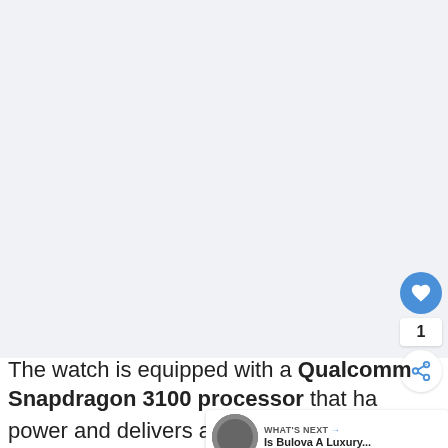[Figure (photo): Large image area with light gray background, likely showing a smartwatch. Area is mostly blank/cropped in this view.]
The watch is equipped with a Qualcomm Snapdragon 3100 processor that ha… power and delivers a lot of speed. There's also 8